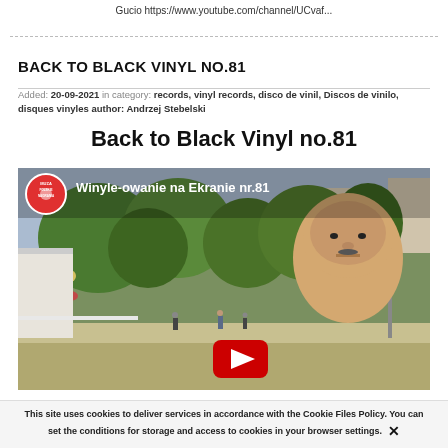Gucio https://www.youtube.com/channel/UCvaf...
BACK TO BLACK VINYL NO.81
Added: 20-09-2021 in category: records, vinyl records, disco de vinil, Discos de vinilo, disques vinyles author: Andrzej Stebelski
Back to Black Vinyl no.81
[Figure (screenshot): YouTube video thumbnail showing a street scene with trees and a bald man's face on the right side. Text overlay reads 'Winyle-owanie na Ekranie nr.81' with a red record label logo on the left and a YouTube play button.]
This site uses cookies to deliver services in accordance with the Cookie Files Policy. You can set the conditions for storage and access to cookies in your browser settings. ✕